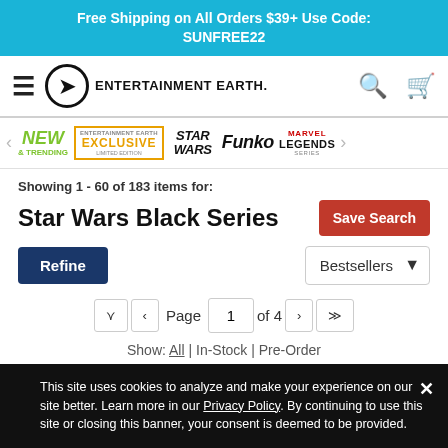Free Shipping on All Orders $39+ Use Code: SUNFREE22
[Figure (logo): Entertainment Earth navigation bar with hamburger menu, logo, search icon, and cart icon]
[Figure (infographic): Category navigation strip with: NEW & TRENDING, ENTERTAINMENT EARTH EXCLUSIVE LIMITED EDITION, STAR WARS, Funko, MARVEL LEGENDS SERIES]
Showing 1 - 60 of 183 items for:
Star Wars Black Series
Save Search
Refine
Bestsellers
Page 1 of 4
Show: All | In-Stock | Pre-Order
This site uses cookies to analyze and make your experience on our site better. Learn more in our Privacy Policy. By continuing to use this site or closing this banner, your consent is deemed to be provided.